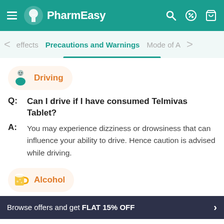PharmEasy
Precautions and Warnings
[Figure (illustration): Driving category icon - person with car illustration in orange badge]
Driving
Q: Can I drive if I have consumed Telmivas Tablet?
A: You may experience dizziness or drowsiness that can influence your ability to drive. Hence caution is advised while driving.
[Figure (illustration): Alcohol category icon - beer mug illustration in orange badge]
Alcohol
Browse offers and get FLAT 15% OFF
Telmivas 40mg Tablet ₹61.37 15% OFF
Add To Cart